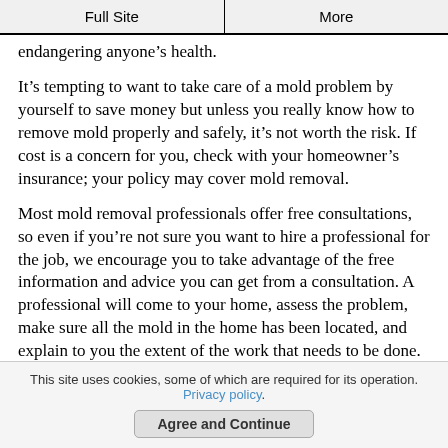Full Site | More
endangering anyone's health.
It's tempting to want to take care of a mold problem by yourself to save money but unless you really know how to remove mold properly and safely, it's not worth the risk. If cost is a concern for you, check with your homeowner's insurance; your policy may cover mold removal.
Most mold removal professionals offer free consultations, so even if you're not sure you want to hire a professional for the job, we encourage you to take advantage of the free information and advice you can get from a consultation. A professional will come to your home, assess the problem, make sure all the mold in the home has been located, and explain to you the extent of the work that needs to be done. For a list of mold removal professionals in your area that offer free consultations, just follow this link.
This site uses cookies, some of which are required for its operation. Privacy policy. Agree and Continue